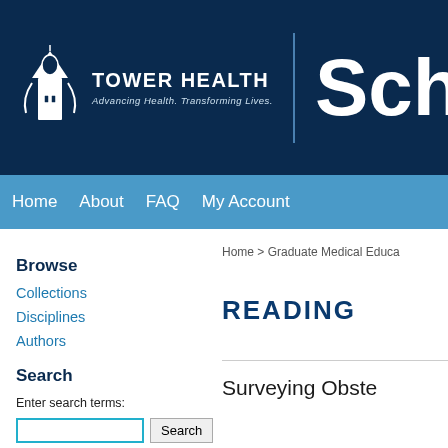[Figure (logo): Tower Health logo with building/bell tower icon and tagline 'Advancing Health. Transforming Lives.']
Scho
Home  About  FAQ  My Account
Browse
Collections
Disciplines
Authors
Search
Enter search terms:
Home > Graduate Medical Educa
READING
Surveying Obste